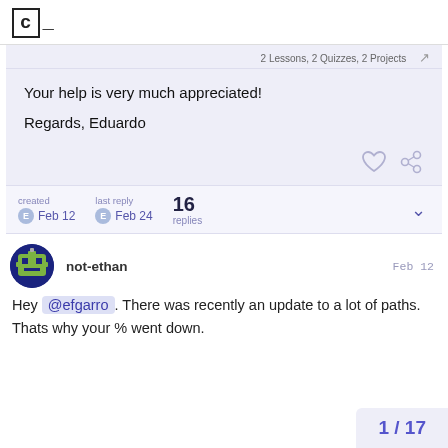[Figure (logo): Codecademy logo: letter C in a square bracket box with underscore cursor]
2 Lessons, 2 Quizzes, 2 Projects
Your help is very much appreciated!

Regards, Eduardo
created Feb 12   last reply Feb 24   16 replies
not-ethan   Feb 12
Hey @efgarro. There was recently an update to a lot of paths. Thats why your % went down.
1 / 17